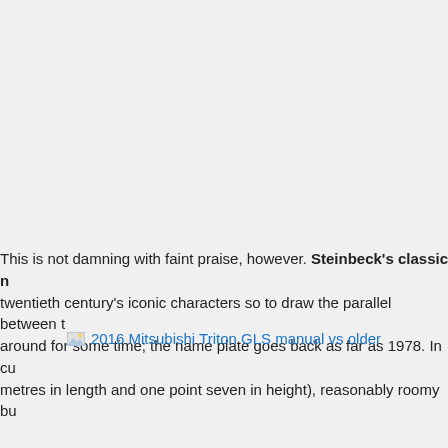This is not damning with faint praise, however. Steinbeck's classic n twentieth century's iconic characters so to draw the parallel between t around for some time; the name plate goes back as far as 1978. In cu metres in length and one point seven in height), reasonably roomy bu
[Figure (other): Broken image placeholder link: '2016 Mitsubishi Triton GLS manual vs older']